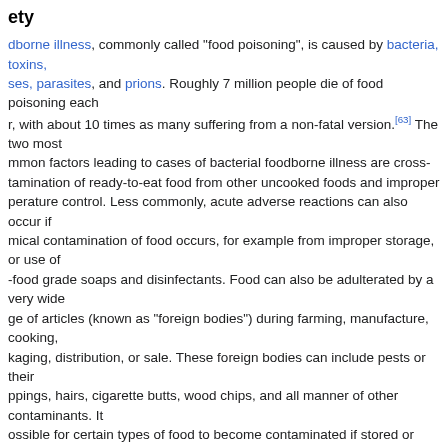ety
dborne illness, commonly called "food poisoning", is caused by bacteria, toxins, ses, parasites, and prions. Roughly 7 million people die of food poisoning each r, with about 10 times as many suffering from a non-fatal version.[63] The two most mmon factors leading to cases of bacterial foodborne illness are cross-tamination of ready-to-eat food from other uncooked foods and improper perature control. Less commonly, acute adverse reactions can also occur if mical contamination of food occurs, for example from improper storage, or use of -food grade soaps and disinfectants. Food can also be adulterated by a very wide ge of articles (known as "foreign bodies") during farming, manufacture, cooking, kaging, distribution, or sale. These foreign bodies can include pests or their ppings, hairs, cigarette butts, wood chips, and all manner of other contaminants. It ossible for certain types of food to become contaminated if stored or presented in unsafe container, such as a ceramic pot with lead-based glaze.[63]
d poisoning has been recognized as a disease since as early as Hippocrates.[64] sale of rancid, contaminated, or adulterated food was commonplace until the oduction of hygiene, refrigeration, and vermin controls in the 19th century. covery of techniques for killing bacteria using heat, and other microbiological ies by scientists such as Louis Pasteur, contributed to the modern sanitation ndards that are ubiquitous in developed nations today. This was further erpinned by the work of Justus von Liebig, which led to the development of lern food storage and food preservation methods.[65] In more recent years, a ater understanding of the causes of food-borne illnesses has led to the elopment of more systematic approaches such as the Hazard Analysis and Critical trol Points (HACCP), which can identify and eliminate many risks.[66]
ommended measures for ensuring food safety include maintaining a clean aration area with foods of different types kept separate, ensuring an adequate king temperature, and refrigerating foods promptly after cooking.[67]